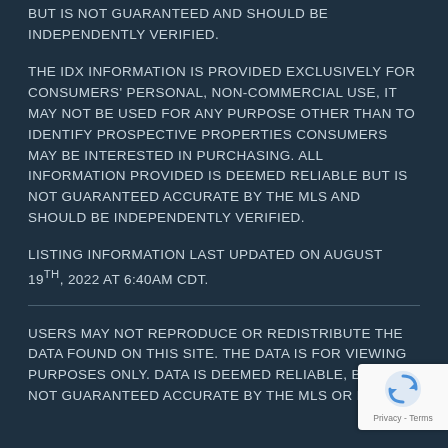BUT IS NOT GUARANTEED AND SHOULD BE INDEPENDENTLY VERIFIED.
THE IDX INFORMATION IS PROVIDED EXCLUSIVELY FOR CONSUMERS' PERSONAL, NON-COMMERCIAL USE, IT MAY NOT BE USED FOR ANY PURPOSE OTHER THAN TO IDENTIFY PROSPECTIVE PROPERTIES CONSUMERS MAY BE INTERESTED IN PURCHASING. ALL INFORMATION PROVIDED IS DEEMED RELIABLE BUT IS NOT GUARANTEED ACCURATE BY THE MLS AND SHOULD BE INDEPENDENTLY VERIFIED.
LISTING INFORMATION LAST UPDATED ON AUGUST 19TH, 2022 AT 6:40AM CDT.
USERS MAY NOT REPRODUCE OR REDISTRIBUTE THE DATA FOUND ON THIS SITE. THE DATA IS FOR VIEWING PURPOSES ONLY. DATA IS DEEMED RELIABLE, BUT IS NOT GUARANTEED ACCURATE BY THE MLS OR KVMLS.
[Figure (logo): reCAPTCHA badge with shield icon and Privacy-Terms label]